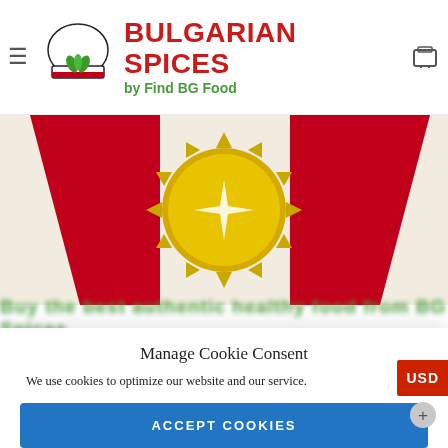BULGARIAN SPICES by Find BG Food
[Figure (illustration): Bulgarian Spices product badge/medal with red ribbon and gold sunburst design on cream background]
Buy the best authentic healthy food from BG Spices
Manage Cookie Consent
We use cookies to optimize our website and our service.
ACCEPT COOKIES
DENY
VIEW PREFERENCES